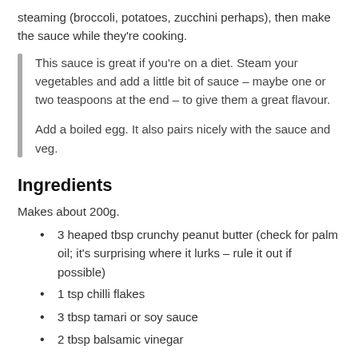steaming (broccoli, potatoes, zucchini perhaps), then make the sauce while they're cooking.
This sauce is great if you're on a diet. Steam your vegetables and add a little bit of sauce – maybe one or two teaspoons at the end – to give them a great flavour.

Add a boiled egg. It also pairs nicely with the sauce and veg.
Ingredients
Makes about 200g.
3 heaped tbsp crunchy peanut butter (check for palm oil; it's surprising where it lurks – rule it out if possible)
1 tsp chilli flakes
3 tbsp tamari or soy sauce
2 tbsp balsamic vinegar
1 tbsp brown sugar
1 tbsp black strap molasses